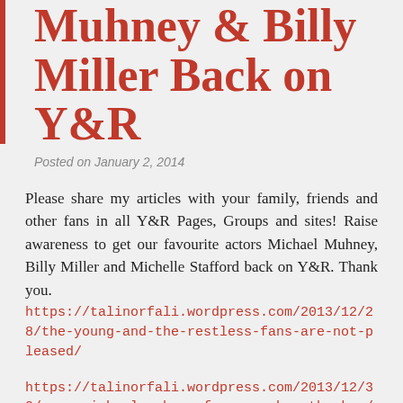Muhney & Billy Miller Back on Y&R
Posted on January 2, 2014
Please share my articles with your family, friends and other fans in all Y&R Pages, Groups and sites! Raise awareness to get our favourite actors Michael Muhney, Billy Miller and Michelle Stafford back on Y&R. Thank you.
https://talinorfali.wordpress.com/2013/12/28/the-young-and-the-restless-fans-are-not-pleased/
https://talinorfali.wordpress.com/2013/12/30/save-michael-muhney-fans-are-heartbroken/
Get me on the Talk on CBS!